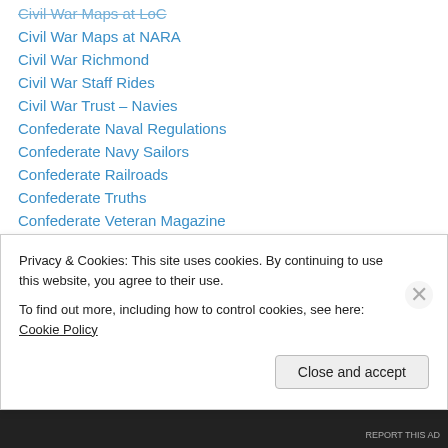Civil War Maps at LoC
Civil War Maps at NARA
Civil War Richmond
Civil War Staff Rides
Civil War Trust – Navies
Confederate Naval Regulations
Confederate Navy Sailors
Confederate Railroads
Confederate Truths
Confederate Veteran Magazine
Confederate Veteran Magazine (More)
Confederate Veteran Magazine (Yet More)
Cooking in the Archives
CS Naval and Marine Officers
Privacy & Cookies: This site uses cookies. By continuing to use this website, you agree to their use.
To find out more, including how to control cookies, see here: Cookie Policy
Close and accept